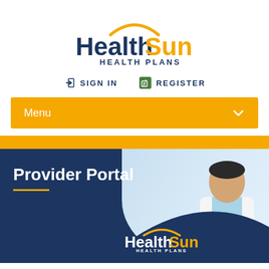[Figure (logo): HealthSun Health Plans logo with orange arc above dark navy text]
➔ SIGN IN   ✎ REGISTER
Menu ∨
[Figure (photo): Orange accent strip above a banner showing a doctor in white coat holding a stethoscope, with dark navy background on the left side]
Provider Portal
[Figure (logo): HealthSun Health Plans logo in white, small, bottom center of banner]